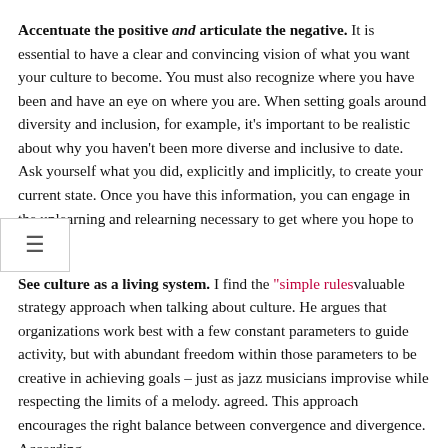Accentuate the positive and articulate the negative. It is essential to have a clear and convincing vision of what you want your culture to become. You must also recognize where you have been and have an eye on where you are. When setting goals around diversity and inclusion, for example, it's important to be realistic about why you haven't been more diverse and inclusive to date. Ask yourself what you did, explicitly and implicitly, to create your current state. Once you have this information, you can engage in the unlearning and relearning necessary to get where you hope to go.
See culture as a living system. I find the "simple rules" valuable strategy approach when talking about culture. He argues that organizations work best with a few constant parameters to guide activity, but with abundant freedom within those parameters to be creative in achieving goals – just as jazz musicians improvise while respecting the limits of a melody. agreed. This approach encourages the right balance between convergence and divergence. According